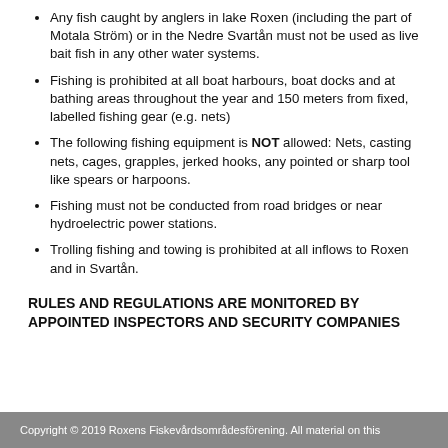Any fish caught by anglers in lake Roxen (including the part of Motala Ström) or in the Nedre Svartån must not be used as live bait fish in any other water systems.
Fishing is prohibited at all boat harbours, boat docks and at bathing areas throughout the year and 150 meters from fixed, labelled fishing gear (e.g. nets)
The following fishing equipment is NOT allowed: Nets, casting nets, cages, grapples, jerked hooks, any pointed or sharp tool like spears or harpoons.
Fishing must not be conducted from road bridges or near hydroelectric power stations.
Trolling fishing and towing is prohibited at all inflows to Roxen and in Svartån.
RULES AND REGULATIONS ARE MONITORED BY APPOINTED INSPECTORS AND SECURITY COMPANIES
Copyright © 2019 Roxens Fiskevårdsområdesförening. All material on this